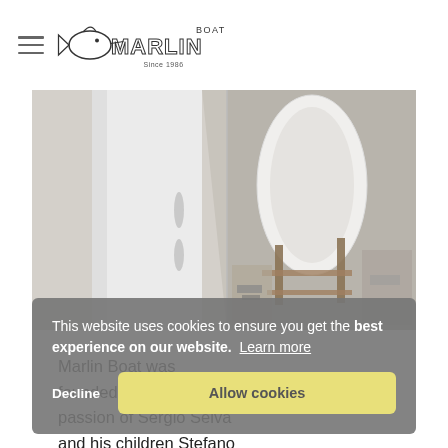Marlin Boat — Since 1986 (logo/navigation header)
[Figure (photo): Aerial/overhead view of a boat manufacturing workshop showing white fiberglass boat hulls on stands in a factory setting.]
Marlin Boat was founded in 1986 by the passion of Sergio Selva and his children Stefano and Cristina. Always looking for a sophisticated and innovative solutions to be applied to its projects, Marlin Boat...
This website uses cookies to ensure you get the best experience on our website. Learn more
Decline   Allow cookies